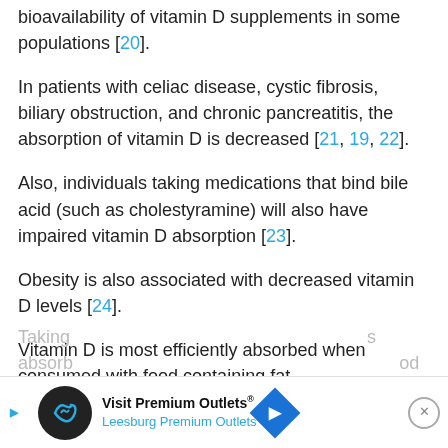bioavailability of vitamin D supplements in some populations [20].
In patients with celiac disease, cystic fibrosis, biliary obstruction, and chronic pancreatitis, the absorption of vitamin D is decreased [21, 19, 22].
Also, individuals taking medications that bind bile acid (such as cholestyramine) will also have impaired vitamin D absorption [23].
Obesity is also associated with decreased vitamin D levels [24].
Vitamin D is most efficiently absorbed when consumed with food containing fat.
Taking ... s absorpt... od